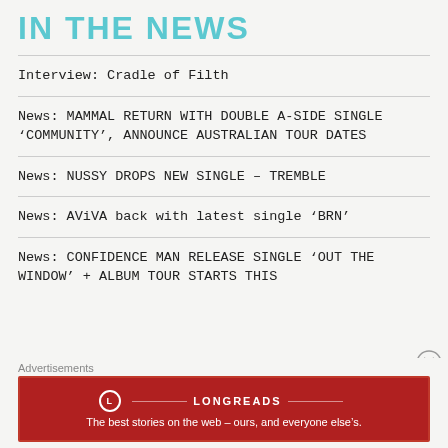IN THE NEWS
Interview: Cradle of Filth
News: MAMMAL RETURN WITH DOUBLE A-SIDE SINGLE ‘COMMUNITY’, ANNOUNCE AUSTRALIAN TOUR DATES
News: NUSSY DROPS NEW SINGLE – TREMBLE
News: AViVA back with latest single ‘BRN’
News: CONFIDENCE MAN RELEASE SINGLE ‘OUT THE WINDOW’ + ALBUM TOUR STARTS THIS
Advertisements
[Figure (other): Longreads advertisement banner: The best stories on the web – ours, and everyone else’s.]